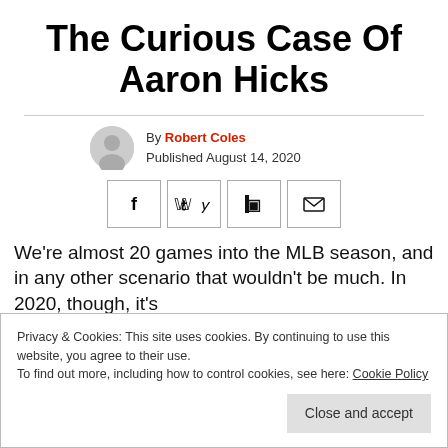The Curious Case Of Aaron Hicks
By Robert Coles
Published August 14, 2020
[Figure (other): Social share buttons: Facebook, Twitter, Flipboard, Email]
We're almost 20 games into the MLB season, and in any other scenario that wouldn't be much. In 2020, though, it's
Privacy & Cookies: This site uses cookies. By continuing to use this website, you agree to their use.
To find out more, including how to control cookies, see here: Cookie Policy
[Close and accept]